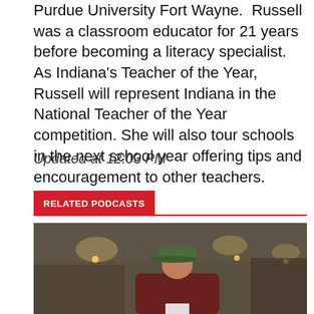Purdue University Fort Wayne.  Russell was a classroom educator for 21 years before becoming a literacy specialist.  As Indiana's Teacher of the Year, Russell will represent Indiana in the National Teacher of the Year competition. She will also tour schools in the next school year offering tips and encouragement to other teachers.
Updated at 12:03 PM
RELATED PODCASTS
[Figure (photo): A person wearing a green baseball cap and a dark red jacket, photographed indoors under string lights in what appears to be a barn or event space setting.]